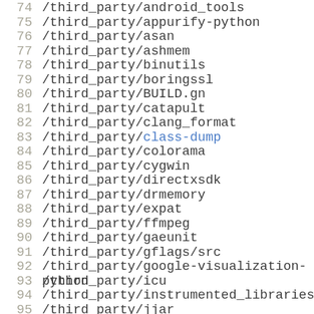74  /third_party/android_tools
75  /third_party/appurify-python
76  /third_party/asan
77  /third_party/ashmem
78  /third_party/binutils
79  /third_party/boringssl
80  /third_party/BUILD.gn
81  /third_party/catapult
82  /third_party/clang_format
83  /third_party/class-dump
84  /third_party/colorama
85  /third_party/cygwin
86  /third_party/directxsdk
87  /third_party/drmemory
88  /third_party/expat
89  /third_party/ffmpeg
90  /third_party/gaeunit
91  /third_party/gflags/src
92  /third_party/google-visualization-python
93  /third_party/icu
94  /third_party/instrumented_libraries
95  /third_party/jjar